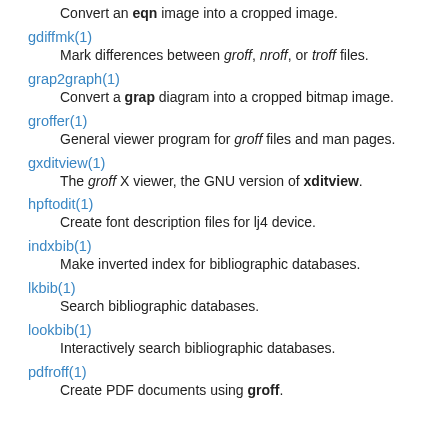(partial top) Convert an eqn image into a cropped image.
gdiffmk(1)
Mark differences between groff, nroff, or troff files.
grap2graph(1)
Convert a grap diagram into a cropped bitmap image.
groffer(1)
General viewer program for groff files and man pages.
gxditview(1)
The groff X viewer, the GNU version of xditview.
hpftodit(1)
Create font description files for lj4 device.
indxbib(1)
Make inverted index for bibliographic databases.
lkbib(1)
Search bibliographic databases.
lookbib(1)
Interactively search bibliographic databases.
pdfroff(1)
Create PDF documents using groff.